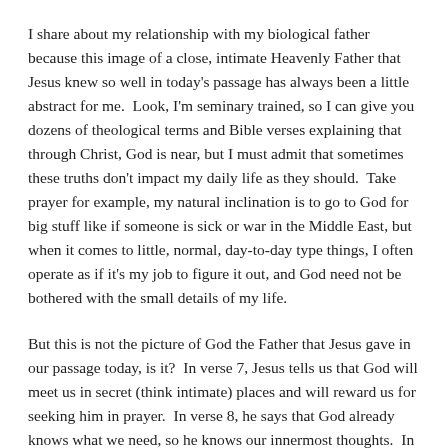I share about my relationship with my biological father because this image of a close, intimate Heavenly Father that Jesus knew so well in today's passage has always been a little abstract for me.  Look, I'm seminary trained, so I can give you dozens of theological terms and Bible verses explaining that through Christ, God is near, but I must admit that sometimes these truths don't impact my daily life as they should.  Take prayer for example, my natural inclination is to go to God for big stuff like if someone is sick or war in the Middle East, but when it comes to little, normal, day-to-day type things, I often operate as if it's my job to figure it out, and God need not be bothered with the small details of my life.
But this is not the picture of God the Father that Jesus gave in our passage today, is it?  In verse 7, Jesus tells us that God will meet us in secret (think intimate) places and will reward us for seeking him in prayer.  In verse 8, he says that God already knows what we need, so he knows our innermost thoughts.  In the actual Lord's Prayer, yes there are big topics like God's Kingdom coming, but then Jesus